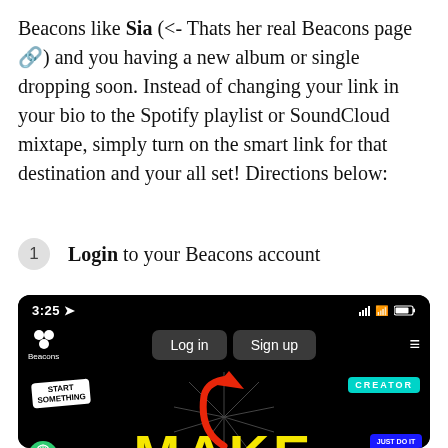Beacons like Sia (<- Thats her real Beacons page 🔗) and you having a new album or single dropping soon. Instead of changing your link in your bio to the Spotify playlist or SoundCloud mixtape, simply turn on the smart link for that destination and your all set! Directions below:
Login to your Beacons account
[Figure (screenshot): Screenshot of the Beacons mobile app login screen on a black background. Shows status bar with time 3:25, signal, wifi, and battery icons. Navigation bar has Beacons logo on left, 'Log in' and 'Sign up' buttons in the center, and hamburger menu on right. A red curved arrow points up at the Log in button. The background shows 'MAKE' in large yellow text, 'START SOMETHING' sticker, 'CREATOR' badge in teal, and 'JUST DO IT' in blue.]